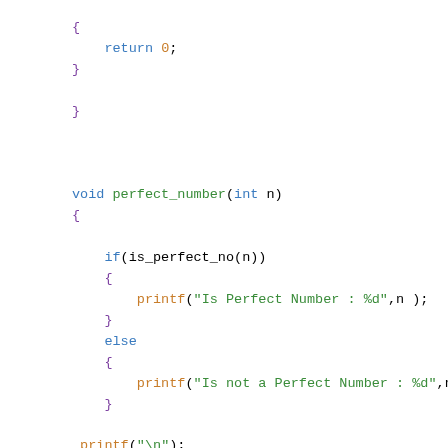[Figure (screenshot): Syntax-highlighted C code snippet showing closing braces for a function returning 0, then a void perfect_number(int n) function with if/else block checking is_perfect_no(n) and printf statements, ending with printf("\n");]